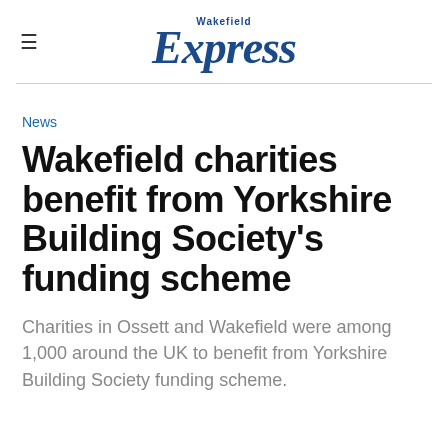Wakefield Express
News
Wakefield charities benefit from Yorkshire Building Society's funding scheme
Charities in Ossett and Wakefield were among 1,000 around the UK to benefit from Yorkshire Building Society funding scheme.